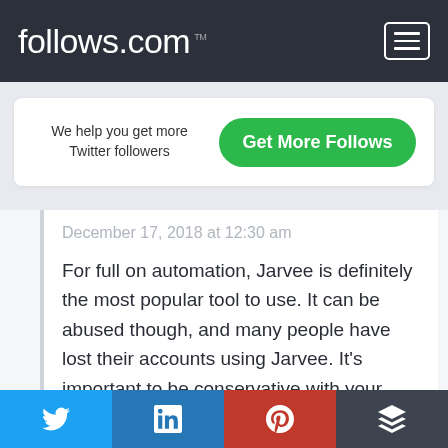follows.com ™
We help you get more Twitter followers
Get More Follows
December 17, 2018 at 12:30 am
For full on automation, Jarvee is definitely the most popular tool to use. It can be abused though, and many people have lost their accounts using Jarvee. It's important to be conservative with your automation and